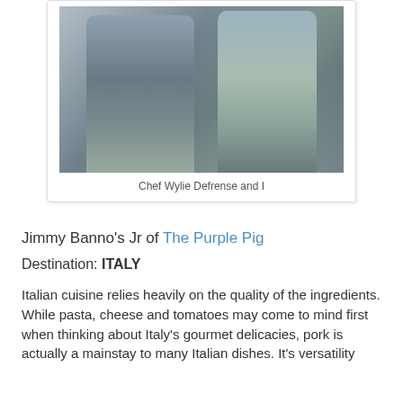[Figure (photo): Two people standing together indoors, a man in a blue button-up shirt and a woman in a plaid green and blue blouse]
Chef Wylie Defrense and I
Jimmy Banno's Jr of The Purple Pig
Destination: ITALY
Italian cuisine relies heavily on the quality of the ingredients. While pasta, cheese and tomatoes may come to mind first when thinking about Italy's gourmet delicacies, pork is actually a mainstay to many Italian dishes. It's versatility